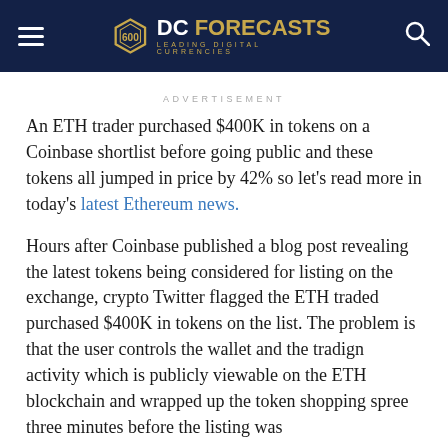DC FORECASTS — LEADING DIGITAL CURRENCIES
ADVERTISEMENT
An ETH trader purchased $400K in tokens on a Coinbase shortlist before going public and these tokens all jumped in price by 42% so let’s read more in today’s latest Ethereum news.
Hours after Coinbase published a blog post revealing the latest tokens being considered for listing on the exchange, crypto Twitter flagged the ETH traded purchased $400K in tokens on the list. The problem is that the user controls the wallet and the tradign activity which is publicly viewable on the ETH blockchain and wrapped up the token shopping spree three minutes before the listing was